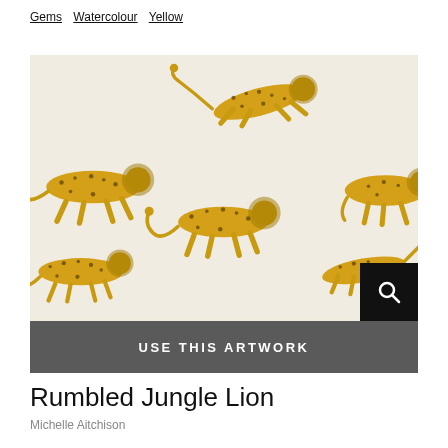Gems  Watercolour  Yellow
[Figure (illustration): Artwork preview showing repeating pattern of golden/yellow lions and cheetahs on a cream/off-white background. Multiple big cats in various poses (leaping, walking, standing). A dark search icon button in the bottom-right corner. A dark grey banner at the bottom reads USE THIS ARTWORK in white spaced capitals.]
Rumbled Jungle Lion
Michelle Aitchison